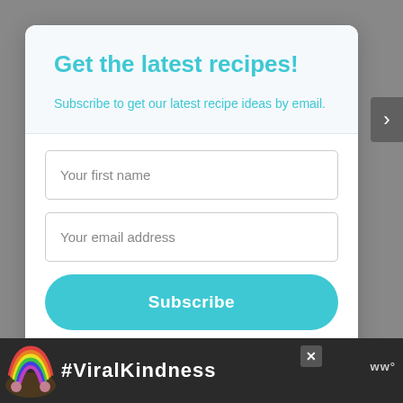Get the latest recipes!
Subscribe to get our latest recipe ideas by email.
Your first name
Your email address
Subscribe
We won't send you spam. Unsubscribe at any time.
Powered By ConvertKit
[Figure (infographic): Advertisement banner with rainbow illustration and #ViralKindness hashtag text on dark background]